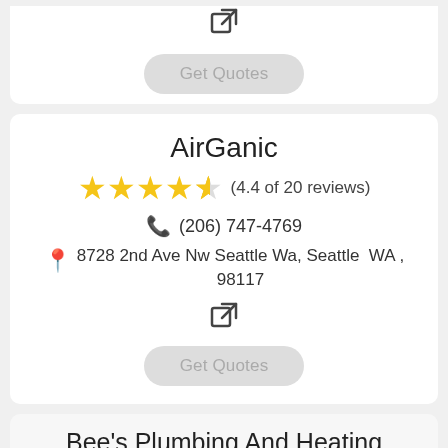[Figure (other): External link icon (arrow box) at top of first card]
Get Quotes
AirGanic
(4.4 of 20 reviews)
(206) 747-4769
8728 2nd Ave Nw Seattle Wa, Seattle  WA , 98117
[Figure (other): External link icon (arrow box)]
Get Quotes
Bee's Plumbing And Heating
(4.4 of 20 reviews)